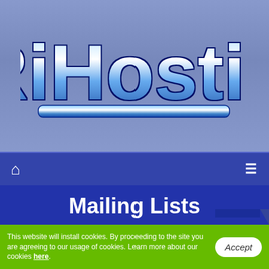[Figure (logo): JRiHosting logo with large blue 3D bubble letters and a blue horizontal gradient bar underneath, on a steel blue background]
Home icon | Menu icon (navigation bar)
Mailing Lists
What is a mailing list? Why can setting up this sort of list help both your website and your business in general?
This website will install cookies. By proceeding to the site you are agreeing to our usage of cookies. Learn more about our cookies here. Accept